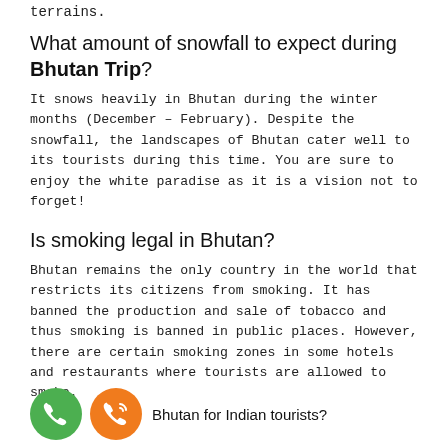terrains.
What amount of snowfall to expect during Bhutan Trip?
It snows heavily in Bhutan during the winter months (December – February). Despite the snowfall, the landscapes of Bhutan cater well to its tourists during this time. You are sure to enjoy the white paradise as it is a vision not to forget!
Is smoking legal in Bhutan?
Bhutan remains the only country in the world that restricts its citizens from smoking. It has banned the production and sale of tobacco and thus smoking is banned in public places. However, there are certain smoking zones in some hotels and restaurants where tourists are allowed to smoke.
[Figure (other): Two circular phone/call icons (green and orange) followed by partial text 'Bhutan for Indian tourists?']